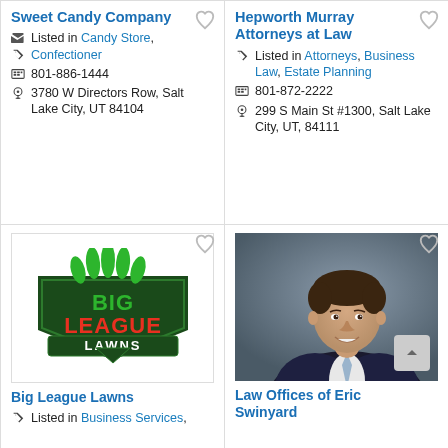Sweet Candy Company
Listed in Candy Store, Confectioner
801-886-1444
3780 W Directors Row, Salt Lake City, UT 84104
Hepworth Murray Attorneys at Law
Listed in Attorneys, Business Law, Estate Planning
801-872-2222
299 S Main St #1300, Salt Lake City, UT, 84111
[Figure (logo): Big League Lawns logo with green and red text on dark green shield background with grass on top]
Big League Lawns
Listed in Business Services,
[Figure (photo): Professional headshot of a young man in dark suit and light blue tie, smiling, against gray background]
Law Offices of Eric Swinyard